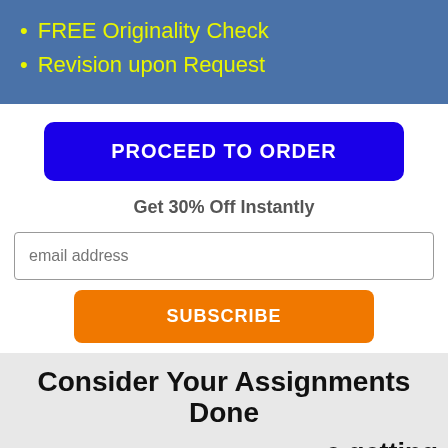FREE Originality Check
Revision upon Request
PROCEED TO ORDER
Get 30% Off Instantly
email address
SUBSCRIBE
Consider Your Assignments Done
Chat now
e getting help arch. It's